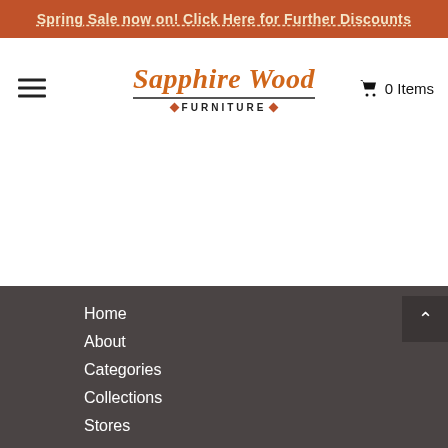Spring Sale now on! Click Here for Further Discounts
[Figure (logo): Sapphire Wood Furniture logo with cart icon showing 0 Items]
Home
About
Categories
Collections
Stores